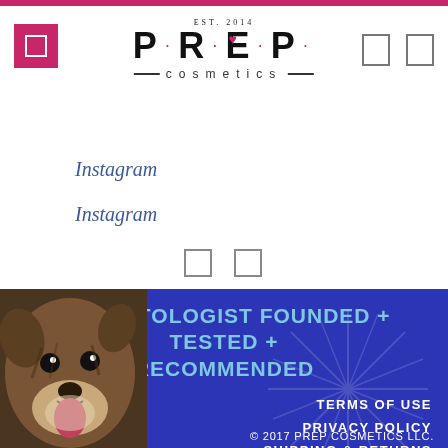[Figure (logo): PREP Cosmetics logo with EST. 2014 text, stylized letters P·R·E·P with a heart inside the E, and the word cosmetics with lines on either side]
Instagram
Instagram
DERMATOLOGIST FOUNDED + TESTED + RECOMMENDED
TERMS OF USE
PRIVACY POLICY
SHIPPING & RETURNS
CONTACT US
SWEEPSTAKES RULES
© 2017 PREP COSMETICS LLC.
[Figure (photo): Photo of a brown and white dog (appears to be a French Bulldog or similar breed) positioned in the lower left corner of the blue footer section]